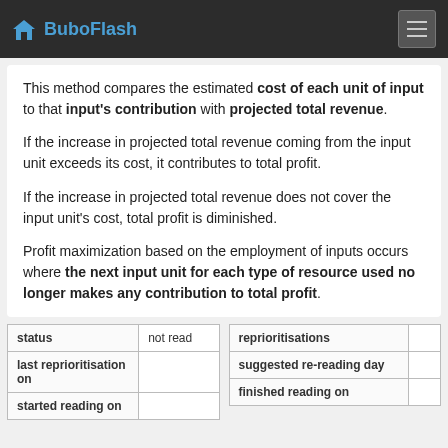BuboFlash
This method compares the estimated cost of each unit of input to that input's contribution with projected total revenue.
If the increase in projected total revenue coming from the input unit exceeds its cost, it contributes to total profit.
If the increase in projected total revenue does not cover the input unit's cost, total profit is diminished.
Profit maximization based on the employment of inputs occurs where the next input unit for each type of resource used no longer makes any contribution to total profit.
| status | not read |
| --- | --- |
| last reprioritisation on |  |
| started reading on |  |
| reprioritisations |  |
| --- | --- |
| suggested re-reading day |  |
| finished reading on |  |